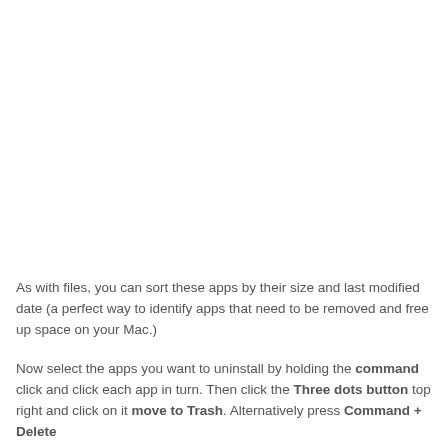As with files, you can sort these apps by their size and last modified date (a perfect way to identify apps that need to be removed and free up space on your Mac.)
Now select the apps you want to uninstall by holding the command click and click each app in turn. Then click the Three dots button top right and click on it move to Trash. Alternatively press Command + Delete